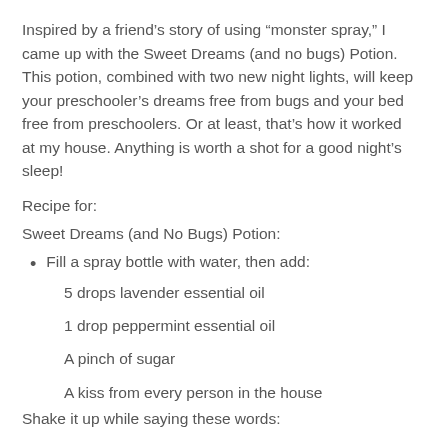Inspired by a friend’s story of using “monster spray,” I came up with the Sweet Dreams (and no bugs) Potion. This potion, combined with two new night lights, will keep your preschooler’s dreams free from bugs and your bed free from preschoolers. Or at least, that’s how it worked at my house. Anything is worth a shot for a good night’s sleep!
Recipe for:
Sweet Dreams (and No Bugs) Potion:
Fill a spray bottle with water, then add:
5 drops lavender essential oil
1 drop peppermint essential oil
A pinch of sugar
A kiss from every person in the house
Shake it up while saying these words: